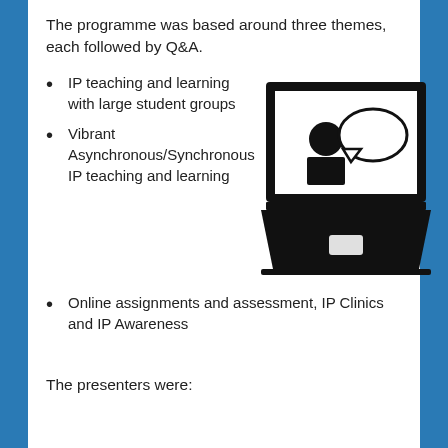The programme was based around three themes, each followed by Q&A.
IP teaching and learning with large student groups
Vibrant Asynchronous/Synchronous IP teaching and learning
[Figure (illustration): Black and white icon of a laptop computer with a person silhouette and speech bubble on the screen.]
Online assignments and assessment, IP Clinics and IP Awareness
The presenters were: